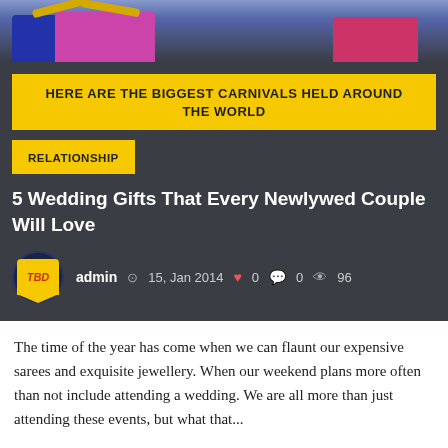[Figure (photo): Colorful wrapped gift boxes with ribbons on a dark background]
HERE ARE THE BIGGEST CARNIVALS HELD AROUND THE WORLD
RELATIONSHIP
5 Wedding Gifts That Every Newlywed Couple Will Love
admin  15, Jan 2014  ♥ 0  💬 0  👁 96
The time of the year has come when we can flaunt our expensive sarees and exquisite jewellery. When our weekend plans more often than not include attending a wedding. We are all more than just attending these events, but what that...